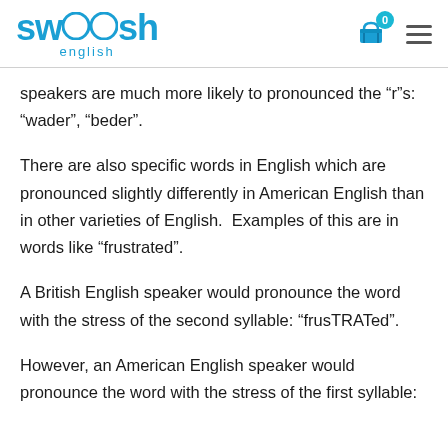swoosh english
speakers are much more likely to pronounced the “r”s: “wader”, “beder”.
There are also specific words in English which are pronounced slightly differently in American English than in other varieties of English.  Examples of this are in words like “frustrated”.
A British English speaker would pronounce the word with the stress of the second syllable: “frusTRATed”.
However, an American English speaker would pronounce the word with the stress of the first syllable: